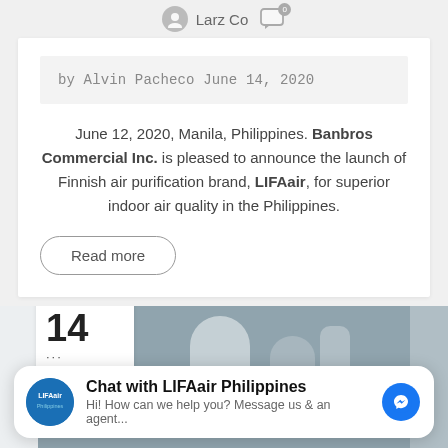Larz Co  0
by Alvin Pacheco June 14, 2020
June 12, 2020, Manila, Philippines. Banbros Commercial Inc. is pleased to announce the launch of Finnish air purification brand, LIFAair, for superior indoor air quality in the Philippines.
Read more
[Figure (photo): Bottom section showing a date badge with '14' and dots, and an air purifier product image on a grey background]
Chat with LIFAair Philippines
Hi! How can we help you? Message us & an agent...